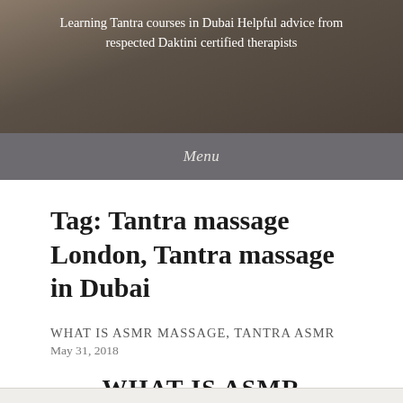Learning Tantra courses in Dubai Helpful advice from respected Daktini certified therapists
Menu
Tag: Tantra massage London, Tantra massage in Dubai
WHAT IS ASMR MASSAGE, TANTRA ASMR
May 31, 2018
WHAT IS ASMR